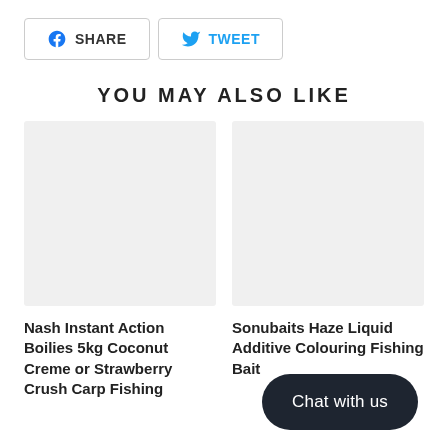SHARE   TWEET
YOU MAY ALSO LIKE
[Figure (photo): Placeholder image for Nash Instant Action Boilies product]
Nash Instant Action Boilies 5kg Coconut Creme or Strawberry Crush Carp Fishing
[Figure (photo): Placeholder image for Sonubaits Haze Liquid Additive Colouring Fishing Bait product]
Sonubaits Haze Liquid Additive Colouring Fishing Bait
Chat with us